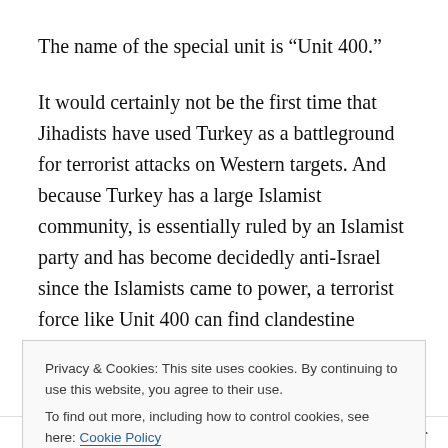The name of the special unit is “Unit 400.”
It would certainly not be the first time that Jihadists have used Turkey as a battleground for terrorist attacks on Western targets. And because Turkey has a large Islamist community, is essentially ruled by an Islamist party and has become decidedly anti-Israel since the Islamists came to power, a terrorist force like Unit 400 can find clandestine support and blend in to the landscape almost effortlessly.
Note also that Unit 400 has been named as plotting
Privacy & Cookies: This site uses cookies. By continuing to use this website, you agree to their use.
To find out more, including how to control cookies, see here: Cookie Policy
Close and accept
Follow